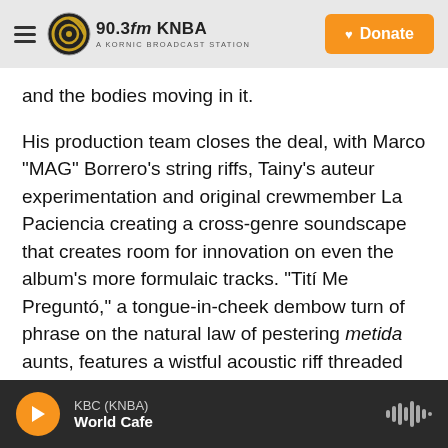90.3fm KNBA — A KORNIC BROADCAST STATION | Donate
and the bodies moving in it.
His production team closes the deal, with Marco "MAG" Borrero's string riffs, Tainy's auteur experimentation and original crewmember La Paciencia creating a cross-genre soundscape that creates room for innovation on even the album's more formulaic tracks. "Tití Me Preguntó," a tongue-in-cheek dembow turn of phrase on the natural law of pestering metida aunts, features a wistful acoustic riff threaded throughout a warped Kiko el Crazy sample and a melancholy synth bridge. His collaborations are meticulously curated,
KBC (KNBA) | World Cafe